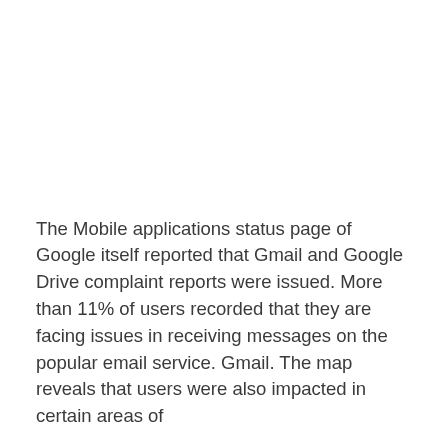The Mobile applications status page of Google itself reported that Gmail and Google Drive complaint reports were issued. More than 11% of users recorded that they are facing issues in receiving messages on the popular email service. Gmail. The map reveals that users were also impacted in certain areas of